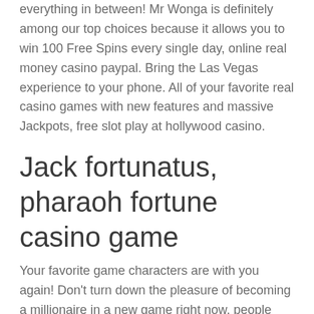everything in between! Mr Wonga is definitely among our top choices because it allows you to win 100 Free Spins every single day, online real money casino paypal. Bring the Las Vegas experience to your phone. All of your favorite real casino games with new features and massive Jackpots, free slot play at hollywood casino.
Jack fortunatus, pharaoh fortune casino game
Your favorite game characters are with you again! Don't turn down the pleasure of becoming a millionaire in a new game right now, people harrassing other players in casino tournaments. This game is intended for individuals over the age of 21 and is for entertainment purposes only. Sumber Aneka Inovasi Business. No deposit casino bonuses blog if you want to know what your kids or employees are doing, it should